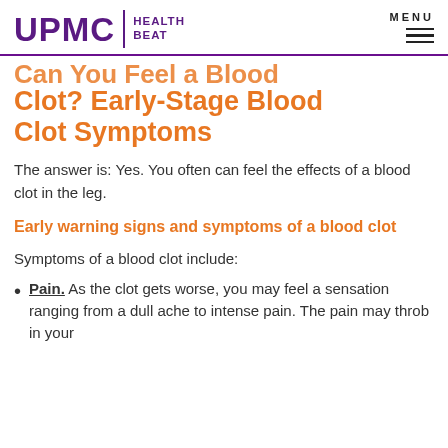UPMC HEALTH BEAT | MENU
Can You Feel a Blood Clot? Early-Stage Blood Clot Symptoms
The answer is: Yes. You often can feel the effects of a blood clot in the leg.
Early warning signs and symptoms of a blood clot
Symptoms of a blood clot include:
Pain. As the clot gets worse, you may feel a sensation ranging from a dull ache to intense pain. The pain may throb in your